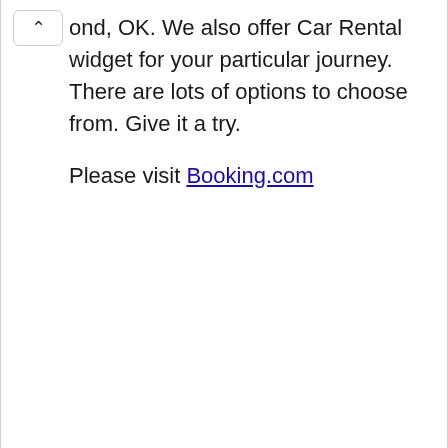ond, OK. We also offer Car Rental widget for your particular journey. There are lots of options to choose from. Give it a try.
Please visit Booking.com